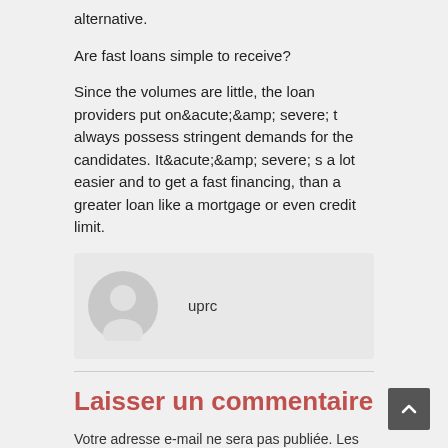alternative.
Are fast loans simple to receive?
Since the volumes are little, the loan providers put on&amp;acute;&amp; severe; t always possess stringent demands for the candidates. It&amp;acute;&amp; severe; s a lot easier and to get a fast financing, than a greater loan like a mortgage or even credit limit.
[Figure (illustration): User avatar placeholder icon (gray circle with silhouette) next to username 'uprc']
Laisser un commentaire
Votre adresse e-mail ne sera pas publiée. Les champs obligatoires sont indiqués avec *
Commentaire